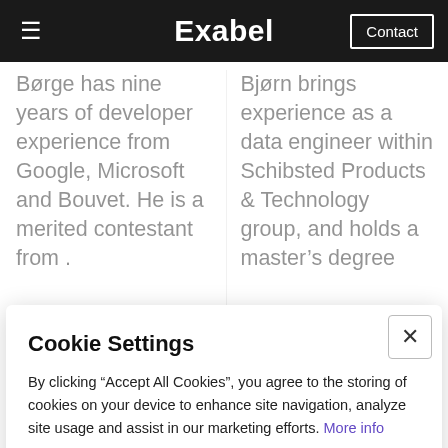Exabel | Contact
Børge has nine years of developer experience from Google, Microsoft and Bouvet. He is a merited contestant from .
Bjørn brings experience as a data engineer within Schibsted Products & Technology group, and holds a master's degree
Cookie Settings
By clicking “Accept All Cookies”, you agree to the storing of cookies on your device to enhance site navigation, analyze site usage and assist in our marketing efforts. More info
Accept All Cookies
Cookie Settings
[Figure (photo): Two partially visible person photos at bottom of page]